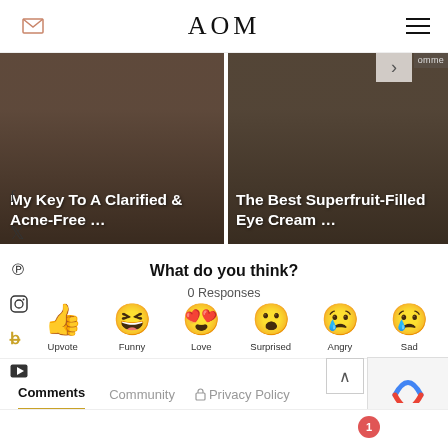AOM
[Figure (screenshot): Article card: My Key To A Clarified & Acne-Free ...]
[Figure (screenshot): Article card: The Best Superfruit-Filled Eye Cream ...]
What do you think?
0 Responses
[Figure (infographic): Reaction emojis: Upvote (thumbs up), Funny (laughing face with tongue), Love (heart eyes), Surprised (wow face), Angry (crying/sad face), Sad (crying face)]
Comments
Community
Privacy Policy